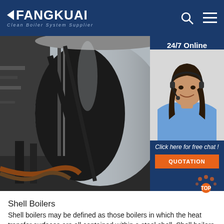FANGKUAI - Clean Boiler System Supplier
[Figure (photo): Industrial shell boiler equipment in a factory setting, showing large cylindrical steel vessel with supports and piping]
[Figure (photo): 24/7 Online customer service agent (woman with headset) with 'Click here for free chat!' text and QUOTATION button overlay on dark blue background]
Shell Boilers
Shell boilers may be defined as those boilers in which the heat transfer surfaces are all contained within a steel shell. Shell boilers may also be referred to as 'fire tube' or 'smoke tube' boilers because the products of combustion pass through the